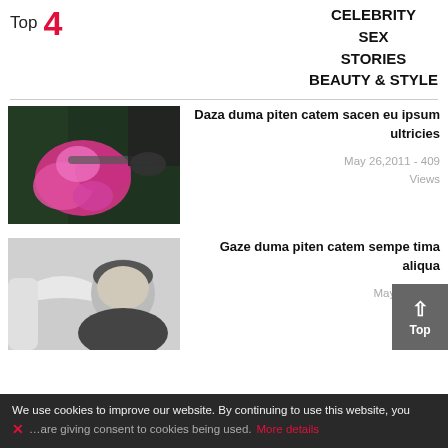Top 4
CELEBRITY
SEX
STORIES
BEAUTY & STYLE
[Figure (photo): Person holding a bicycle handlebar with a large bouquet of pink flowers]
Daza duma piten catem sacen eu ipsum ultricies
May 26,2011 - 409 Views
[Figure (photo): Black and white photo of a couple, man looking down at woman]
Gaze duma piten catem sempe tima aliqua...
May 26,2011 - ... Views
We use cookies to improve our website. By continuing to use this website, you ...are giving consent to cookies being used. More details